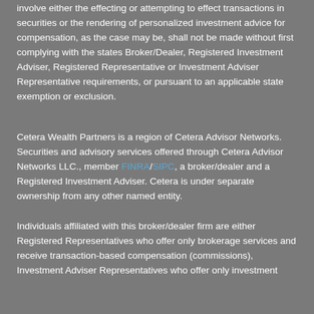involve either the effecting or attempting to effect transactions in securities or the rendering of personalized investment advice for compensation, as the case may be, shall not be made without first complying with the states Broker/Dealer, Registered Investment Adviser, Registered Representative or Investment Adviser Representative requirements, or pursuant to an applicable state exemption or exclusion.
Cetera Wealth Partners is a region of Cetera Advisor Networks. Securities and advisory services offered through Cetera Advisor Networks LLC., member FINRA/SIPC, a broker/dealer and a Registered Investment Adviser. Cetera is under separate ownership from any other named entity.
Individuals affiliated with this broker/dealer firm are either Registered Representatives who offer only brokerage services and receive transaction-based compensation (commissions), Investment Adviser Representatives who offer only investment